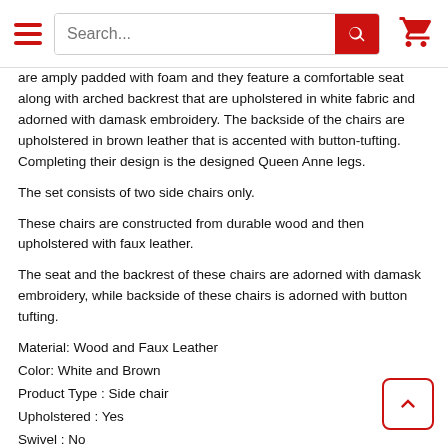[Figure (screenshot): Website navigation header with hamburger menu, search bar, and shopping cart icon]
are amply padded with foam and they feature a comfortable seat along with arched backrest that are upholstered in white fabric and adorned with damask embroidery. The backside of the chairs are upholstered in brown leather that is accented with button-tufting. Completing their design is the designed Queen Anne legs.
The set consists of two side chairs only.
These chairs are constructed from durable wood and then upholstered with faux leather.
The seat and the backrest of these chairs are adorned with damask embroidery, while backside of these chairs is adorned with button tufting.
Material: Wood and Faux Leather
Color: White and Brown
Product Type : Side chair
Upholstered : Yes
Swivel : No